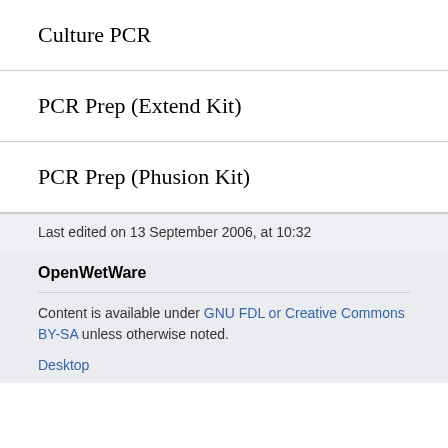Culture PCR
PCR Prep (Extend Kit)
PCR Prep (Phusion Kit)
Last edited on 13 September 2006, at 10:32
OpenWetWare
Content is available under GNU FDL or Creative Commons BY-SA unless otherwise noted.
Desktop